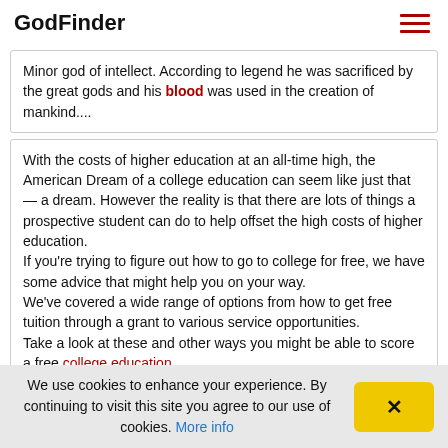GodFinder
Minor god of intellect. According to legend he was sacrificed by the great gods and his blood was used in the creation of mankind....
With the costs of higher education at an all-time high, the American Dream of a college education can seem like just that — a dream. However the reality is that there are lots of things a prospective student can do to help offset the high costs of higher education. If you're trying to figure out how to go to college for free, we have some advice that might help you on your way. We've covered a wide range of options from how to get free tuition through a grant to various service opportunities. Take a look at these and other ways you might be able to score a free college education.
We use cookies to enhance your experience. By continuing to visit this site you agree to our use of cookies. More info